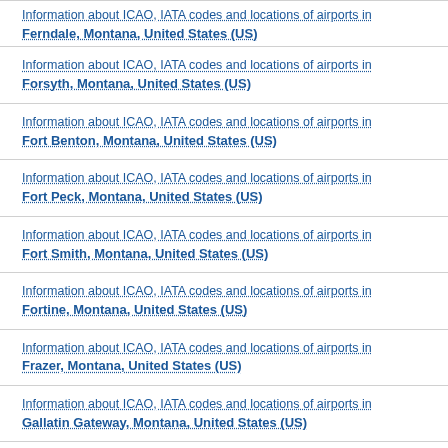Information about ICAO, IATA codes and locations of airports in Ferndale, Montana, United States (US)
Information about ICAO, IATA codes and locations of airports in Forsyth, Montana, United States (US)
Information about ICAO, IATA codes and locations of airports in Fort Benton, Montana, United States (US)
Information about ICAO, IATA codes and locations of airports in Fort Peck, Montana, United States (US)
Information about ICAO, IATA codes and locations of airports in Fort Smith, Montana, United States (US)
Information about ICAO, IATA codes and locations of airports in Fortine, Montana, United States (US)
Information about ICAO, IATA codes and locations of airports in Frazer, Montana, United States (US)
Information about ICAO, IATA codes and locations of airports in Gallatin Gateway, Montana, United States (US)
Information about ICAO, IATA codes and locations of airports in Gardiner, Montana, United States (US)